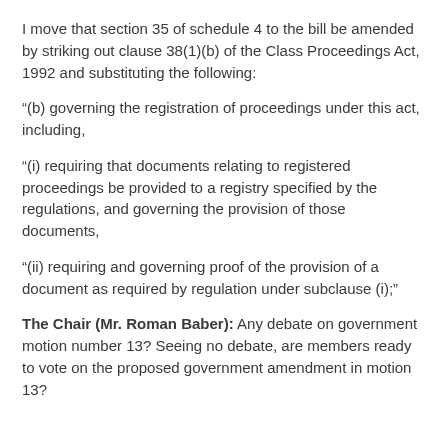I move that section 35 of schedule 4 to the bill be amended by striking out clause 38(1)(b) of the Class Proceedings Act, 1992 and substituting the following:
“(b) governing the registration of proceedings under this act, including,
“(i) requiring that documents relating to registered proceedings be provided to a registry specified by the regulations, and governing the provision of those documents,
“(ii) requiring and governing proof of the provision of a document as required by regulation under subclause (i);"
The Chair (Mr. Roman Baber): Any debate on government motion number 13? Seeing no debate, are members ready to vote on the proposed government amendment in motion 13?